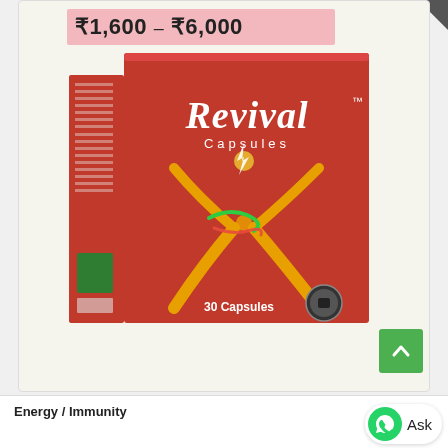₹1,600 – ₹6,000
[Figure (photo): Red box of Revival Capsules (30 Capsules) with brand logo and energetic figure design on the front]
Energy / Immunity
Ask